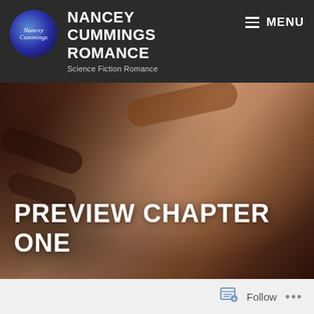NANCEY CUMMINGS ROMANCE — Science Fiction Romance
[Figure (photo): Hero image with warm brown tones showing a close-up body with soft shadows and diagonal marks, overlaid with large white bold text 'PREVIEW CHAPTER ONE']
PREVIEW CHAPTER ONE
Follow ...